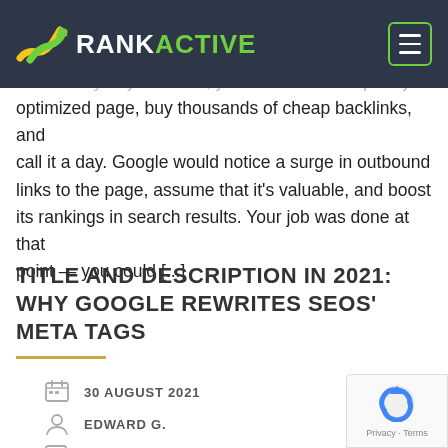RANKACTIVE
In the early days of SEO, you could create a poorly optimized page, buy thousands of cheap backlinks, and call it a day. Google would notice a surge in outbound links to the page, assume that it's valuable, and boost its rankings in search results. Your job was done at that point — you could [...]
TITLE AND DESCRIPTION IN 2021: WHY GOOGLE REWRITES SEOS' META TAGS
30 AUGUST 2021
EDWARD G.
0 COMMENTS